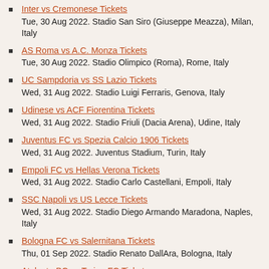Inter vs Cremonese Tickets
Tue, 30 Aug 2022. Stadio San Siro (Giuseppe Meazza), Milan, Italy
AS Roma vs A.C. Monza Tickets
Tue, 30 Aug 2022. Stadio Olimpico (Roma), Rome, Italy
UC Sampdoria vs SS Lazio Tickets
Wed, 31 Aug 2022. Stadio Luigi Ferraris, Genova, Italy
Udinese vs ACF Fiorentina Tickets
Wed, 31 Aug 2022. Stadio Friuli (Dacia Arena), Udine, Italy
Juventus FC vs Spezia Calcio 1906 Tickets
Wed, 31 Aug 2022. Juventus Stadium, Turin, Italy
Empoli FC vs Hellas Verona Tickets
Wed, 31 Aug 2022. Stadio Carlo Castellani, Empoli, Italy
SSC Napoli vs US Lecce Tickets
Wed, 31 Aug 2022. Stadio Diego Armando Maradona, Naples, Italy
Bologna FC vs Salernitana Tickets
Thu, 01 Sep 2022. Stadio Renato DallAra, Bologna, Italy
Atalanta BC vs Torino FC Tickets
Thu, 01 Sep 2022. Stadio di Bergamo (Gewiss Stadium),